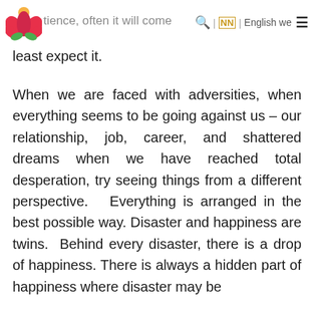tience, often it will come | NN | English we [menu icon]
least expect it.
When we are faced with adversities, when everything seems to be going against us – our relationship, job, career, and shattered dreams when we have reached total desperation, try seeing things from a different perspective.  Everything is arranged in the best possible way. Disaster and happiness are twins.  Behind every disaster, there is a drop of happiness. There is always a hidden part of happiness where disaster may be